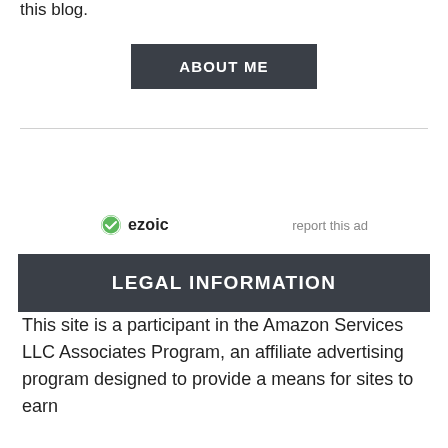this blog.
ABOUT ME
[Figure (other): Ezoic logo with 'report this ad' link]
LEGAL INFORMATION
This site is a participant in the Amazon Services LLC Associates Program, an affiliate advertising program designed to provide a means for sites to earn